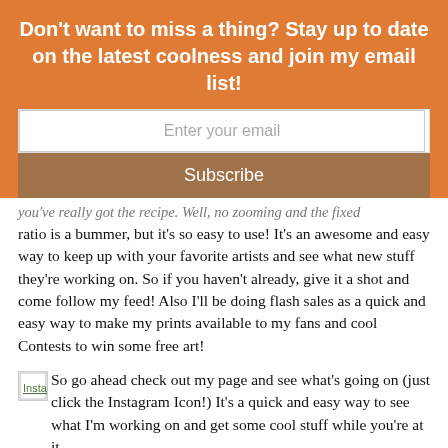Don't want to miss a thing? Stay up to date on the latest coolness and join my email list!
ratio is a bummer, but it's so easy to use! It's an awesome and easy way to keep up with your favorite artists and see what new stuff they're working on. So if you haven't already, give it a shot and come follow my feed! Also I'll be doing flash sales as a quick and easy way to make my prints available to my fans and cool Contests to win some free art!
So go ahead check out my page and see what's going on (just click the Instagram Icon!) It's a quick and easy way to see what I'm working on and get some cool stuff while you're at it.